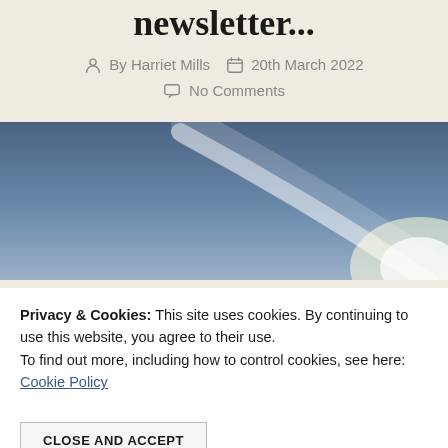newsletter...
By Harriet Mills   20th March 2022   No Comments
[Figure (photo): Sky photo with blue gradient and light streak, partial view of ocean at bottom]
Privacy & Cookies: This site uses cookies. By continuing to use this website, you agree to their use. To find out more, including how to control cookies, see here: Cookie Policy
CLOSE AND ACCEPT